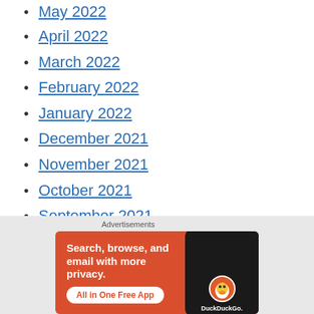May 2022
April 2022
March 2022
February 2022
January 2022
December 2021
November 2021
October 2021
September 2021
August 2021
July 2021
June 2021
[Figure (infographic): DuckDuckGo advertisement banner: orange background with text 'Search, browse, and email with more privacy. All in One Free App' alongside a phone image with DuckDuckGo logo]